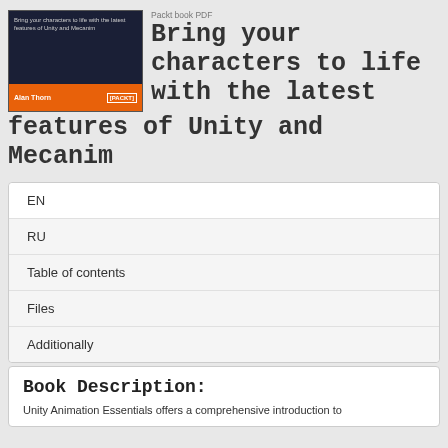[Figure (illustration): Book cover for Unity Animation Essentials by Alan Thorn, published by Packt. Dark navy top half with subtitle text, orange bottom strip with author name and Packt logo.]
Bring your characters to life with the latest features of Unity and Mecanim
EN
RU
Table of contents
Files
Additionally
Book Description:
Unity Animation Essentials offers a comprehensive introduction to